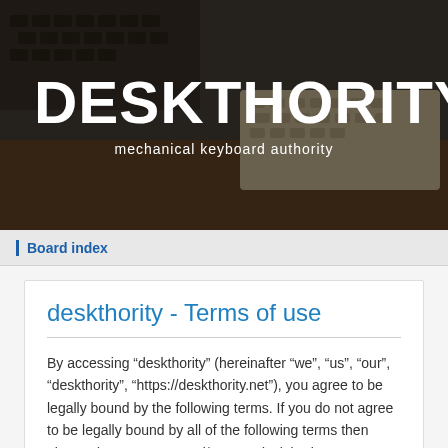[Figure (photo): Dark moody photo of vintage keyboards on a desk, with Deskthority logo overlay in white bold text and tagline 'mechanical keyboard authority']
Board index
deskthority - Terms of use
By accessing “deskthority” (hereinafter “we”, “us”, “our”, “deskthority”, “https://deskthority.net”), you agree to be legally bound by the following terms. If you do not agree to be legally bound by all of the following terms then please do not access and/or use “deskthority”. We may change these at any time and we’ll do our utmost in informing you, though it would be prudent